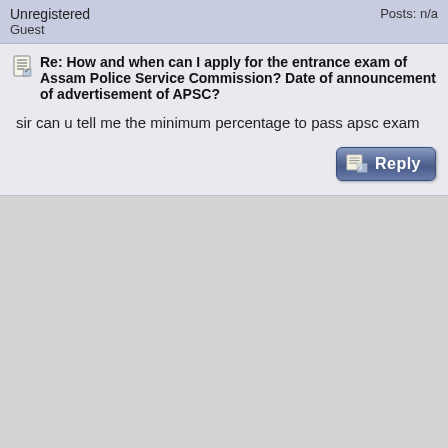Unregistered
Guest
Posts: n/a
Re: How and when can I apply for the entrance exam of Assam Police Service Commission? Date of announcement of advertisement of APSC?
sir can u tell me the minimum percentage to pass apsc exam